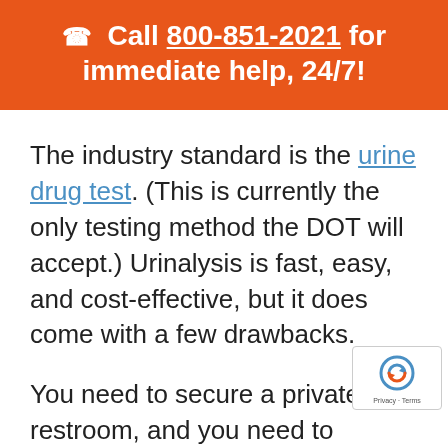📞 Call 800-851-2021 for immediate help, 24/7!
The industry standard is the urine drug test. (This is currently the only testing method the DOT will accept.) Urinalysis is fast, easy, and cost-effective, but it does come with a few drawbacks.
You need to secure a private restroom, and you need to disable the sink and toilet, and pour a bluing agent in the